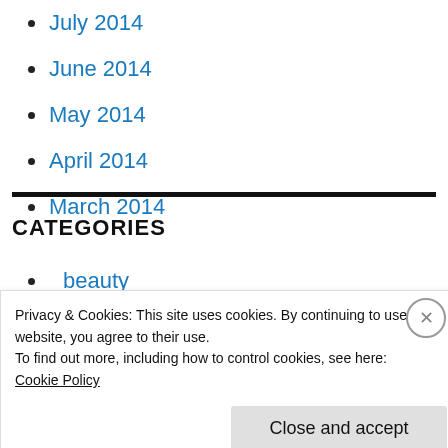July 2014
June 2014
May 2014
April 2014
March 2014
CATEGORIES
beauty
Privacy & Cookies: This site uses cookies. By continuing to use this website, you agree to their use.
To find out more, including how to control cookies, see here:
Cookie Policy
Close and accept